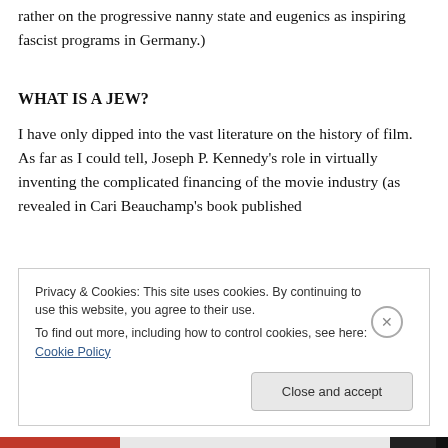rather on the progressive nanny state and eugenics as inspiring fascist programs in Germany.)
WHAT IS A JEW?
I have only dipped into the vast literature on the history of film. As far as I could tell, Joseph P. Kennedy’s role in virtually inventing the complicated financing of the movie industry (as revealed in Cari Beauchamp’s book published
Privacy & Cookies: This site uses cookies. By continuing to use this website, you agree to their use.
To find out more, including how to control cookies, see here: Cookie Policy
Close and accept